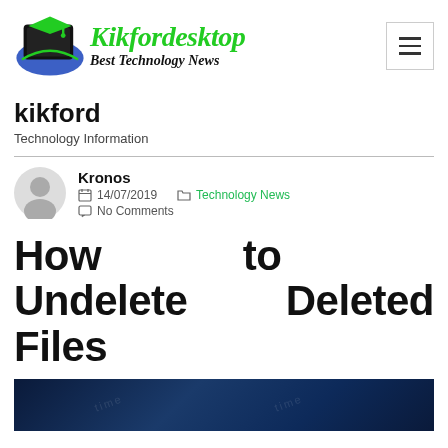Kikfordesktop Best Technology News
kikford
Technology Information
Kronos
14/07/2019
No Comments
Technology News
How to Undelete Deleted Files
[Figure (photo): Dark blue technology-themed image, partially visible at bottom of page]